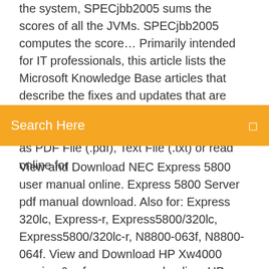the system, SPECjbb2005 sums the scores of all the JVMs. SPECjbb2005 computes the score… Primarily intended for IT professionals, this article lists the Microsoft Knowledge Base articles that describe the fixes and updates that are included in Windows Server 2003 Service Pack 1. Debugger User - Free download as PDF File (.pdf), Text File (.txt) or read online for
Search Here
View and Download NEC Express 5800 user manual online. Express 5800 Server pdf manual download. Also for: Express 320lc, Express-r, Express5800/320lc, Express5800/320lc-r, N8800-063f, N8800-064f. View and Download HP Xw4000 service & reference manual online. HP xw4000: Reference Guide. Xw4000 Desktop pdf manual download. Also for: Xw6000. All Intel Microprocessor List -shatrudhan kumar - Free download as PDF File (.pdf), Text File (.txt) or read online for free. www.roboticsview.in Also, 64-bit CPU and ALU architectures are those that are based on registers, address